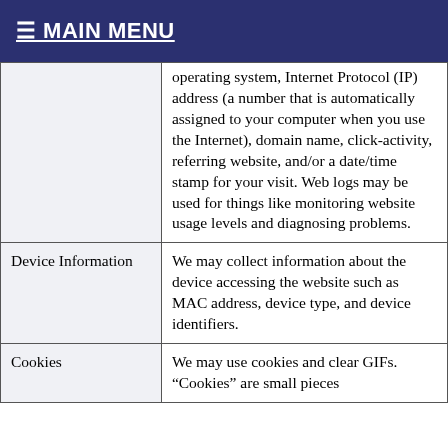≡ MAIN MENU
|  | operating system, Internet Protocol (IP) address (a number that is automatically assigned to your computer when you use the Internet), domain name, click-activity, referring website, and/or a date/time stamp for your visit. Web logs may be used for things like monitoring website usage levels and diagnosing problems. |
| Device Information | We may collect information about the device accessing the website such as MAC address, device type, and device identifiers. |
| Cookies | We may use cookies and clear GIFs. "Cookies" are small pieces... |